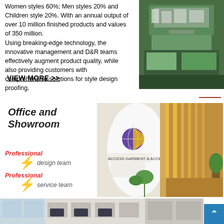Women styles 60%; Men styles 20% and Children style 20%. With an annual output of over 10 million finished products and values of 350 million. Using breaking-edge technology, the innovative management and D&R teams effectively augment product quality, while also providing customers with comprehensive solutions for style design proofing.
[Figure (photo): Aerial view of an industrial facility or factory complex surrounded by green hills and fields]
VIEW MORE >>
Office and Showroom
Professional design team
Professional service team
[Figure (photo): Office and showroom interior showing a reception area with Chinese characters and ACCESS GARMENT & ACCESSORY signage, plus a corridor with yellow lighting]
[Figure (photo): Office workspace with cubicles and employees working at computers]